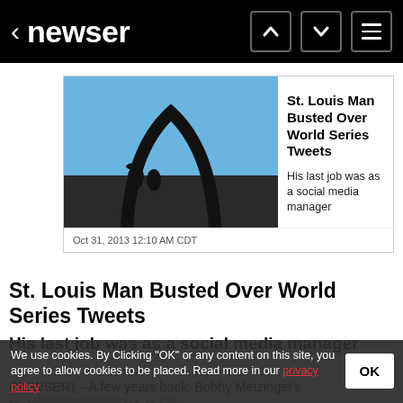< newser
[Figure (screenshot): News article card with Gateway Arch photo thumbnail, title 'St. Louis Man Busted Over World Series Tweets', subtitle 'His last job was as a social media manager', date 'Oct 31, 2013 12:10 AM CDT']
St. Louis Man Busted Over World Series Tweets
His last job was as a social media manager
(NEWSER) – A few years back, Bobby Metzinger's "soc... job in th field, now it's landed him in court. Metzinger, a 30-
We use cookies. By Clicking "OK" or any content on this site, you agree to allow cookies to be placed. Read more in our privacy policy